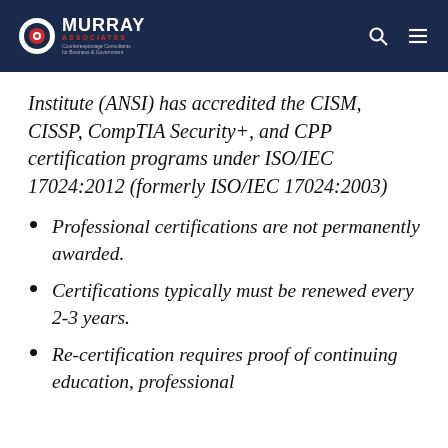Murray Associates — Counterespionage Consultants for Business & Government
Institute (ANSI) has accredited the CISM, CISSP, CompTIA Security+, and CPP certification programs under ISO/IEC 17024:2012 (formerly ISO/IEC 17024:2003)
Professional certifications are not permanently awarded.
Certifications typically must be renewed every 2-3 years.
Re-certification requires proof of continuing education, professional...